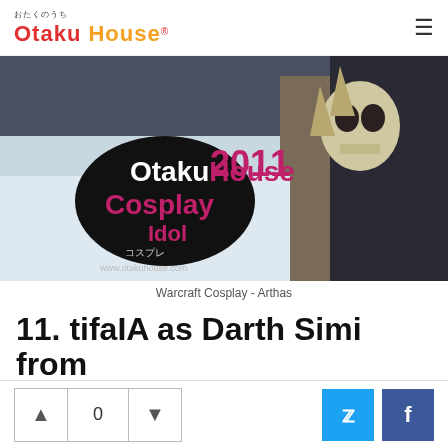Otaku House® おたくのうち
[Figure (photo): OtakuHouse Cosplay Idol 2011 banner overlaid on a Warcraft Arthas cosplay photo showing skull armor and dark cloak in snowy setting. Text reads 'OtakuHouse CosplayIdol コスプレ 2011 www.otakuhouse.com']
Warcraft Cosplay - Arthas
11. tifaIA as Darth Simi from "C...